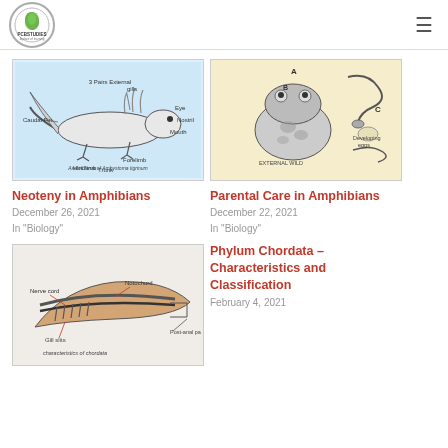PCBSTUDIES logo and hamburger menu
[Figure (illustration): Axolotl larva of Ambystoma tigrinum (Tiger Salamander) diagram showing Caudal Fin, 3 Pairs External gills, Eye, Nostril, Mouth, Forelimb, Trunk, Hindlimb]
Neoteny in Amphibians
December 26, 2021
In "Biology"
[Figure (illustration): Parental care in amphibians diagram showing frog with developing eggs and other amphibians labeled A, B, C, D]
Parental Care in Amphibians
December 22, 2021
In "Biology"
[Figure (illustration): Characteristics of chordata diagram showing nerve cord, notochord, gill slits, post-anal part]
Phylum Chordata – Characteristics and Classification
February 4, 2021